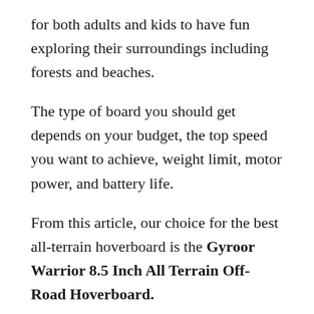for both adults and kids to have fun exploring their surroundings including forests and beaches.
The type of board you should get depends on your budget, the top speed you want to achieve, weight limit, motor power, and battery life.
From this article, our choice for the best all-terrain hoverboard is the Gyroor Warrior 8.5 Inch All Terrain Off-Road Hoverboard.
It has a durable and super sturdy construction that allows you to have a long-lasting riding experience without worrying about damage.
The solid tires make riding on different terrains